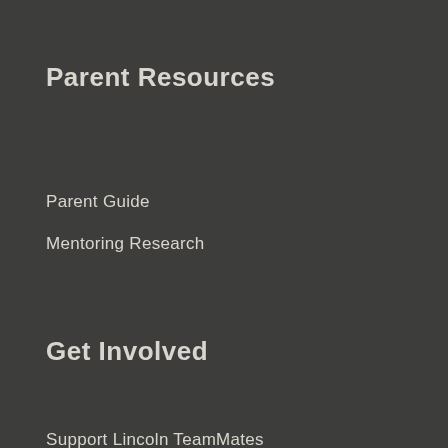Parent Resources
Parent Guide
Mentoring Research
Get Involved
Support Lincoln TeamMates
Partner Organizations
Volunteer
Subscribe to Mentor News
Download Brochure